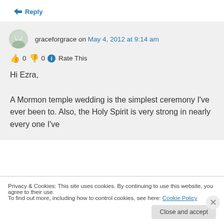↳ Reply
graceforgrace on May 4, 2012 at 9:14 am
👍 0 👎 0 ℹ Rate This
Hi Ezra,

A Mormon temple wedding is the simplest ceremony I've ever been to. Also, the Holy Spirit is very strong in nearly every one I've
Privacy & Cookies: This site uses cookies. By continuing to use this website, you agree to their use.
To find out more, including how to control cookies, see here: Cookie Policy
Close and accept